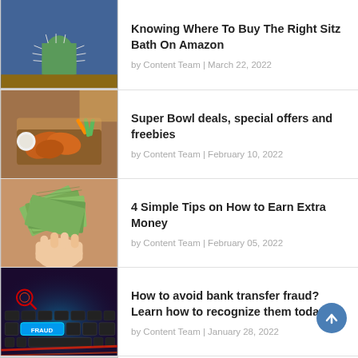[Figure (photo): Cactus plant with blue fabric background]
Knowing Where To Buy The Right Sitz Bath On Amazon
by Content Team | March 22, 2022
[Figure (photo): Buffalo chicken wings in a basket with dipping sauce and vegetables]
Super Bowl deals, special offers and freebies
by Content Team | February 10, 2022
[Figure (photo): Hands holding a fan of US dollar bills]
4 Simple Tips on How to Earn Extra Money
by Content Team | February 05, 2022
[Figure (photo): Keyboard with a glowing FRAUD key highlighted in blue]
How to avoid bank transfer fraud? Learn how to recognize them today!
by Content Team | January 28, 2022